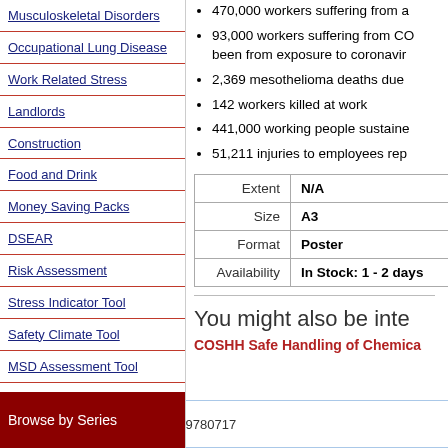Musculoskeletal Disorders
Occupational Lung Disease
Work Related Stress
Landlords
Construction
Food and Drink
Money Saving Packs
DSEAR
Risk Assessment
Stress Indicator Tool
Safety Climate Tool
MSD Assessment Tool
Browse by Series
470,000 workers suffering from a...
93,000 workers suffering from CO... been from exposure to coronavir...
2,369 mesothelioma deaths due ...
142 workers killed at work
441,000 working people sustaine...
51,211 injuries to employees rep...
|  |  |
| --- | --- |
| Extent | N/A |
| Size | A3 |
| Format | Poster |
| Availability | In Stock: 1 - 2 days |
You might also be inte...
COSHH Safe Handling of Chemica...
Published:10... 9780717... Back to Top